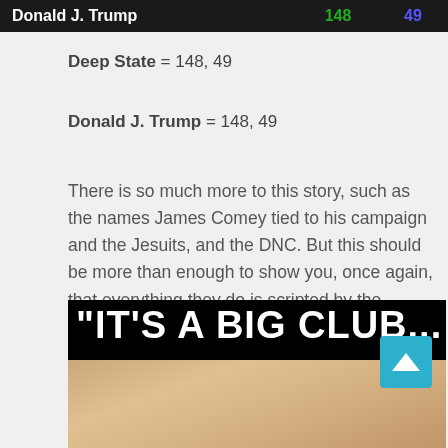[Figure (screenshot): Dark banner bar showing 'Donald J. Trump' in white with '148' in green and '49' in blue/purple on black background]
Deep State = 148, 49
Donald J. Trump = 148, 49
There is so much more to this story, such as the names James Comey tied to his campaign and the Jesuits, and the DNC. But this should be more than enough to show you, once again, that everything they do is scripted by the numbers and it is nothing more than pure theatre for the sleeping masses.
[Figure (photo): Black background image with large white text reading "IT'S A BIG CLUB..." above a photo strip showing people's faces]